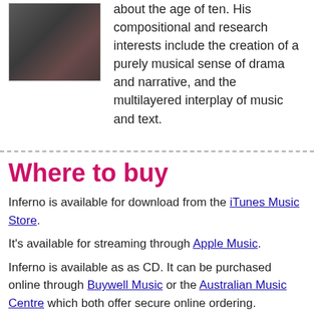[Figure (photo): Headshot of a man wearing a dark purple/maroon shirt, photographed against a dark background.]
about the age of ten. His compositional and research interests include the creation of a purely musical sense of drama and narrative, and the multilayered interplay of music and text.
Where to buy
Inferno is available for download from the iTunes Music Store.
It's available for streaming through Apple Music.
Inferno is available as as CD. It can be purchased online through Buywell Music or the Australian Music Centre which both offer secure online ordering.